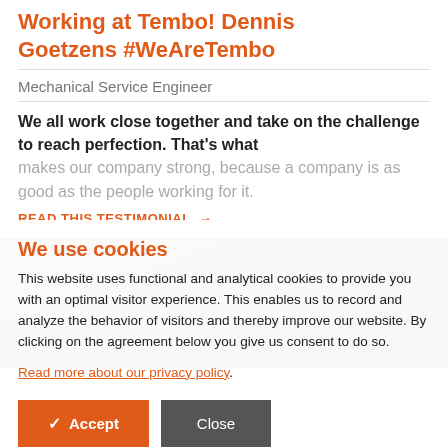Working at Tembo! Dennis Goetzens #WeAreTembo
Mechanical Service Engineer
We all work close together and take on the challenge to reach perfection. That's what makes our company strong, because a company is as good as the people working for it.
READ THIS TESTIMONIAL →
[Figure (photo): Photo of a person (woman with curly hair) at a desk with equipment, partially visible behind cookie consent overlay]
We use cookies
This website uses functional and analytical cookies to provide you with an optimal visitor experience. This enables us to record and analyze the behavior of visitors and thereby improve our website. By clicking on the agreement below you give us consent to do so.
Read more about our privacy policy.
✓ Accept   Close